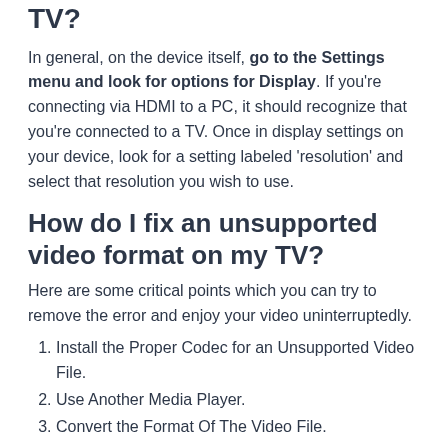How do I change the resolution on my TV?
In general, on the device itself, go to the Settings menu and look for options for Display. If you're connecting via HDMI to a PC, it should recognize that you're connected to a TV. Once in display settings on your device, look for a setting labeled ‘resolution’ and select that resolution you wish to use.
How do I fix an unsupported video format on my TV?
Here are some critical points which you can try to remove the error and enjoy your video uninterruptedly.
Install the Proper Codec for an Unsupported Video File.
Use Another Media Player.
Convert the Format Of The Video File.